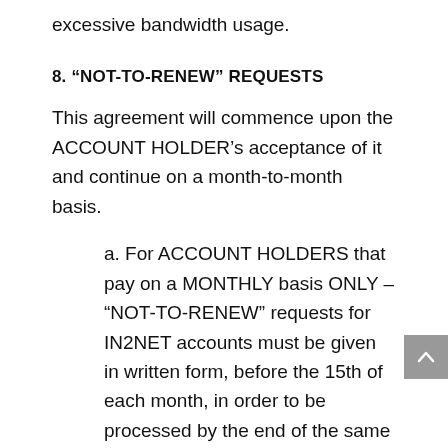excessive bandwidth usage.
8. “NOT-TO-RENEW” REQUESTS
This agreement will commence upon the ACCOUNT HOLDER’s acceptance of it and continue on a month-to-month basis.
a. For ACCOUNT HOLDERS that pay on a MONTHLY basis ONLY – “NOT-TO-RENEW” requests for IN2NET accounts must be given in written form, before the 15th of each month, in order to be processed by the end of the same month.